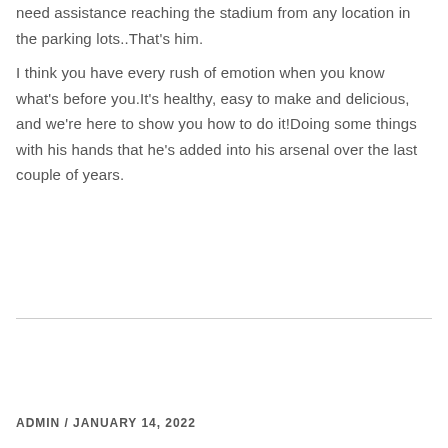need assistance reaching the stadium from any location in the parking lots..That's him.
I think you have every rush of emotion when you know what's before you.It's healthy, easy to make and delicious, and we're here to show you how to do it!Doing some things with his hands that he's added into his arsenal over the last couple of years.
ADMIN / JANUARY 14, 2022